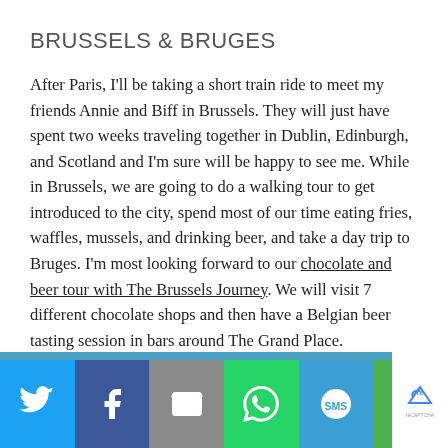BRUSSELS & BRUGES
After Paris, I'll be taking a short train ride to meet my friends Annie and Biff in Brussels. They will just have spent two weeks traveling together in Dublin, Edinburgh, and Scotland and I'm sure will be happy to see me. While in Brussels, we are going to do a walking tour to get introduced to the city, spend most of our time eating fries, waffles, mussels, and drinking beer, and take a day trip to Bruges. I'm most looking forward to our chocolate and beer tour with The Brussels Journey. We will visit 7 different chocolate shops and then have a Belgian beer tasting session in bars around The Grand Place.
[Figure (infographic): Social sharing bar with icons for Twitter, Facebook, Email, WhatsApp, SMS, and More options on colored backgrounds]